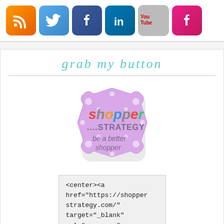[Figure (illustration): Six social media icons in a row: RSS (orange), Twitter (blue bird), Facebook (dark blue), LinkedIn (blue), YouTube (gray with 'You Tube' text), and a pink Facebook icon]
grab my button
[Figure (logo): Shopper Strategy badge logo: pink/lavender decorative square with polka dots, colorful text reading 'shopper STRATEGY be a better shopper']
<center><a href="https://shopperstrategy.com/" target="_blank" rel="noopener">